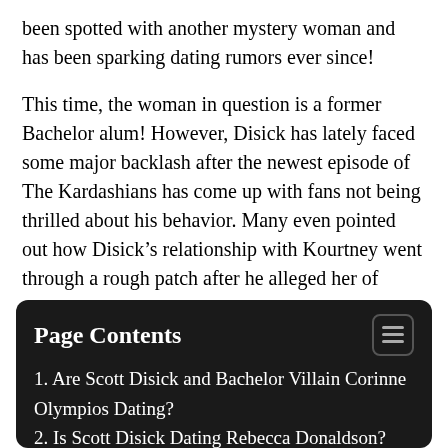been spotted with another mystery woman and has been sparking dating rumors ever since!
This time, the woman in question is a former Bachelor alum! However, Disick has lately faced some major backlash after the newest episode of The Kardashians has come up with fans not being thrilled about his behavior. Many even pointed out how Disick’s relationship with Kourtney went through a rough patch after he alleged her of suckering him into having children when it was revealed that she was having their third child. Let us find out whether Scott Disick and Bachelor Villain Corinne Olympios are Dating or not.
Page Contents
1. Are Scott Disick and Bachelor Villain Corinne Olympios Dating?
2. Is Scott Disick Dating Rebecca Donaldson?